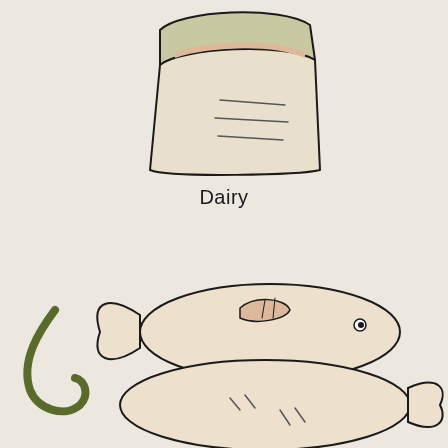[Figure (illustration): A hand-drawn illustration of a wedge of cheese (partially visible at top) with a green rind and cream-colored body with curved lines suggesting texture, drawn in a minimal doodle style on a beige background.]
Dairy
[Figure (illustration): A hand-drawn illustration of two fish stacked/overlapping, drawn in a minimal doodle style. The upper fish faces right with a visible eye dot and a small peach-colored fin patch; the lower fish faces right with small tail fins visible at right. A dark olive-green curved shape (possibly a fishing hook or plant) appears to the left of the fish. Drawn on a beige background.]